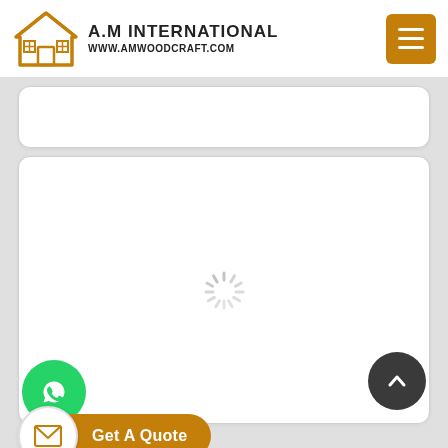[Figure (logo): A.M International logo with house icon and URL www.amwoodcraft.com]
[Figure (screenshot): Navigation menu button (hamburger icon) on amber/brown background]
[Figure (screenshot): White card panel (partial, top)]
[Figure (screenshot): White card panel with a loading spinner icon in the center]
[Figure (screenshot): Green circular WhatsApp button]
[Figure (screenshot): Dark circular back-to-top arrow button]
[Figure (screenshot): Get A Quote button with envelope icon on white circle and amber pill label]